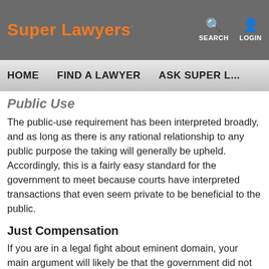Super Lawyers · SEARCH · LOGIN
HOME   FIND A LAWYER   ASK SUPER L...
Public Use
The public-use requirement has been interpreted broadly, and as long as there is any rational relationship to any public purpose the taking will generally be upheld. Accordingly, this is a fairly easy standard for the government to meet because courts have interpreted transactions that even seem private to be beneficial to the public.
Just Compensation
If you are in a legal fight about eminent domain, your main argument will likely be that the government did not provide just compensation. Generally, the government must provide fair market value for the property it is taking. While this sounds straightforward, fair market value can vary based on the use of the property, so you will likely want to show that...